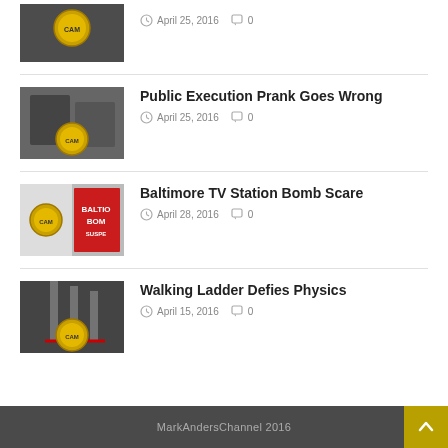[Figure (photo): Thumbnail image with logo badge - first article]
April 25, 2016   0
[Figure (photo): Public Execution Prank Goes Wrong thumbnail with logo badge]
Public Execution Prank Goes Wrong
April 25, 2016   0
[Figure (photo): Baltimore TV Station Bomb Scare thumbnail with logo badge]
Baltimore TV Station Bomb Scare
April 28, 2016   0
[Figure (photo): Walking Ladder Defies Physics thumbnail with logo badge]
Walking Ladder Defies Physics
April 15, 2016   0
MarkAndersChannel 2016